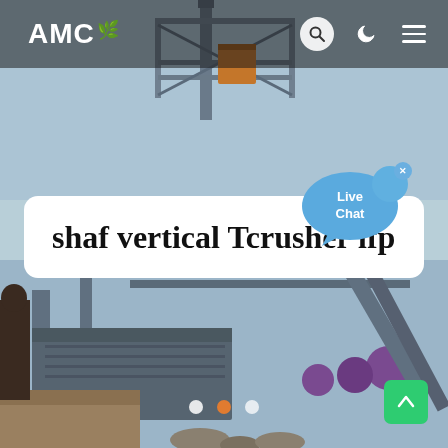[Figure (photo): Industrial mining/crushing equipment with steel framework structures photographed from below against a light blue sky, with conveyor belts and machinery visible in lower portion]
AMC
shaf vertical Tcrusher lfp
[Figure (illustration): Live Chat speech bubble icon in blue with text 'Live Chat']